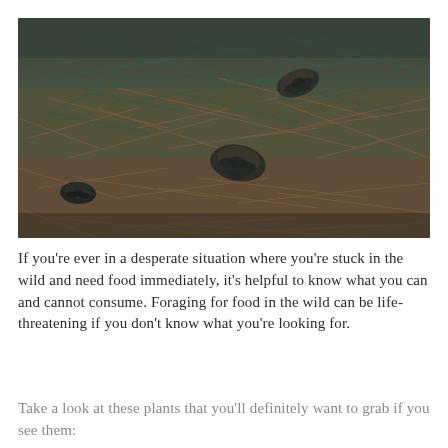[Figure (photo): Close-up photograph of pine needles and pine cones scattered on a forest floor, with dark teal and brown tones. Two pine cones are visible among the dried needles.]
If you're ever in a desperate situation where you're stuck in the wild and need food immediately, it's helpful to know what you can and cannot consume. Foraging for food in the wild can be life-threatening if you don't know what you're looking for.
Take a look at these plants that you'll definitely want to grab if you see them: